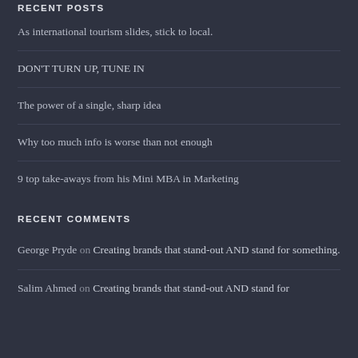RECENT POSTS
As international tourism slides, stick to local.
DON'T TURN UP, TUNE IN
The power of a single, sharp idea
Why too much info is worse than not enough
9 top take-aways from his Mini MBA in Marketing
RECENT COMMENTS
George Pryde on Creating brands that stand-out AND stand for something.
Salim Ahmed on Creating brands that stand-out AND stand for